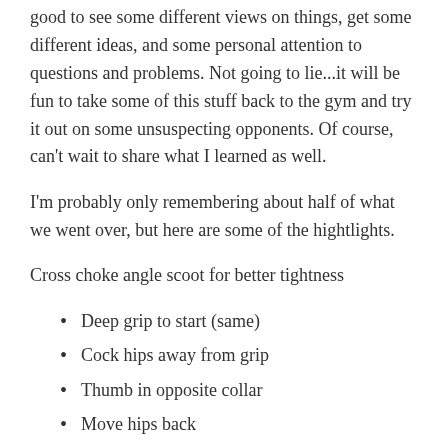good to see some different views on things, get some different ideas, and some personal attention to questions and problems. Not going to lie...it will be fun to take some of this stuff back to the gym and try it out on some unsuspecting opponents. Of course, can't wait to share what I learned as well.
I'm probably only remembering about half of what we went over, but here are some of the hightlights.
Cross choke angle scoot for better tightness
Deep grip to start (same)
Cock hips away from grip
Thumb in opposite collar
Move hips back
Pull down, elbows up